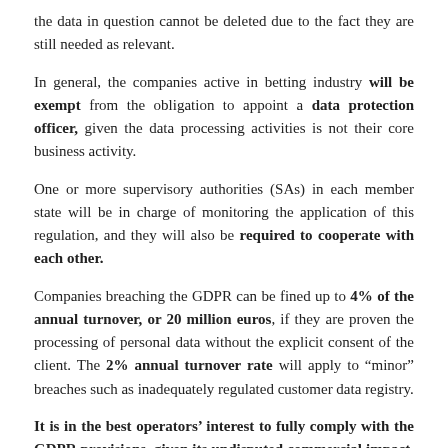the data in question cannot be deleted due to the fact they are still needed as relevant.
In general, the companies active in betting industry will be exempt from the obligation to appoint a data protection officer, given the data processing activities is not their core business activity.
One or more supervisory authorities (SAs) in each member state will be in charge of monitoring the application of this regulation, and they will also be required to cooperate with each other.
Companies breaching the GDPR can be fined up to 4% of the annual turnover, or 20 million euros, if they are proven the processing of personal data without the explicit consent of the client. The 2% annual turnover rate will apply to “minor” breaches such as inadequately regulated customer data registry.
It is in the best operators’ interest to fully comply with the GDPR provisions, given its undisputed commercial impact. In short, increasing the customers’ awareness of a provider protecting and